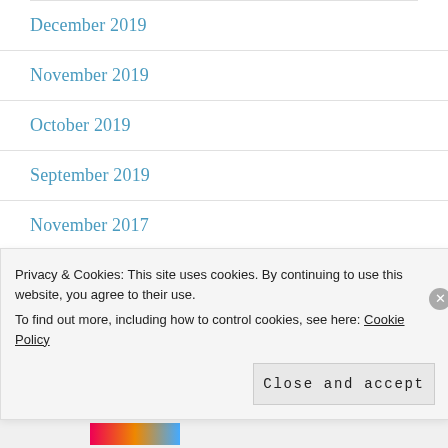December 2019
November 2019
October 2019
September 2019
November 2017
May 2017
April 2017
Privacy & Cookies: This site uses cookies. By continuing to use this website, you agree to their use.
To find out more, including how to control cookies, see here: Cookie Policy
Close and accept